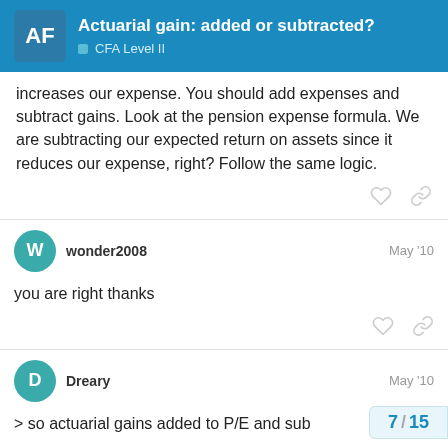Actuarial gain: added or subtracted? — CFA Level II
increases our expense. You should add expenses and subtract gains. Look at the pension expense formula. We are subtracting our expected return on assets since it reduces our expense, right? Follow the same logic.
wonder2008 — May '10
you are right thanks
Dreary — May '10
> so actuarial gains added to P/E and sub...